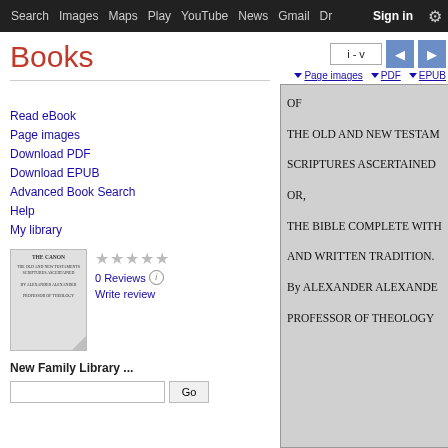Search Images Maps Play YouTube News Gmail Drive More Sign in (gear icon)
Books
Read eBook
Page images
Download PDF
Download EPUB
Advanced Book Search
Help
My library
0 Reviews
Write review
New Family Library ...
[Figure (screenshot): Google Books page viewer showing a scanned book page with text: OF / THE OLD AND NEW TESTAM / SCRIPTURES ASCERTAINED / OR, / THE BIBLE COMPLETE WITH / AND WRITTEN TRADITION. / By ALEXANDER ALEXANDE / PROFESSOR OF THEOLOGY]
i - v
Page images  PDF  EPUB